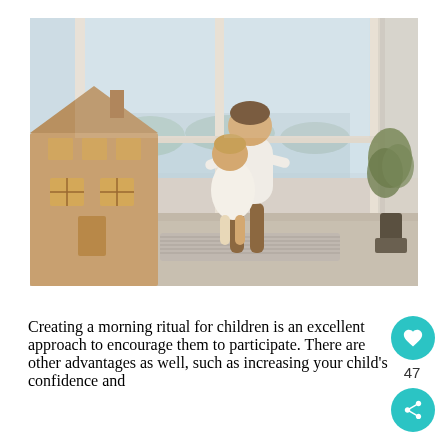[Figure (photo): Two children playing in a bright room with large windows. A taller child in white clothes is holding a smaller child. There is a wooden dollhouse on the left side and a plant on the right. The room has a patterned rug on the floor.]
Creating a morning ritual for children is an excellent approach to encourage them to participate. There are other advantages as well, such as increasing your child's confidence and